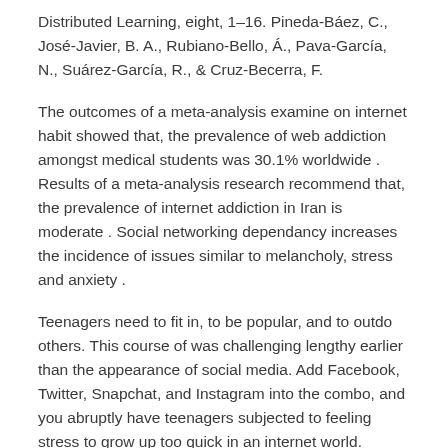Distributed Learning, eight, 1–16. Pineda-Báez, C., José-Javier, B. A., Rubiano-Bello, Á., Pava-García, N., Suárez-García, R., & Cruz-Becerra, F.
The outcomes of a meta-analysis examine on internet habit showed that, the prevalence of web addiction amongst medical students was 30.1% worldwide . Results of a meta-analysis research recommend that, the prevalence of internet addiction in Iran is moderate . Social networking dependancy increases the incidence of issues similar to melancholy, stress and anxiety .
Teenagers need to fit in, to be popular, and to outdo others. This course of was challenging lengthy earlier than the appearance of social media. Add Facebook, Twitter, Snapchat, and Instagram into the combo, and you abruptly have teenagers subjected to feeling stress to grow up too quick in an internet world.
It permits computers anyplace on the earth to link into